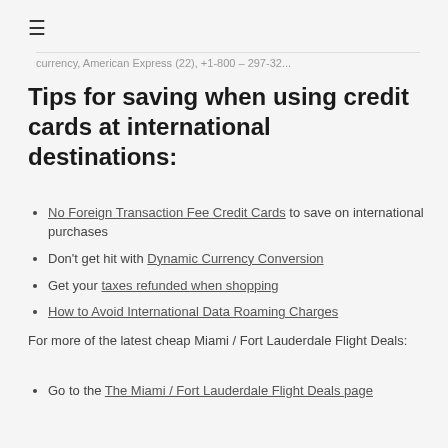≡
currency, American Express (22), +1-800 – 297-32...
Tips for saving when using credit cards at international destinations:
No Foreign Transaction Fee Credit Cards to save on international purchases
Don't get hit with Dynamic Currency Conversion
Get your taxes refunded when shopping
How to Avoid International Data Roaming Charges
For more of the latest cheap Miami / Fort Lauderdale Flight Deals:
Go to the The Miami / Fort Lauderdale Flight Deals page